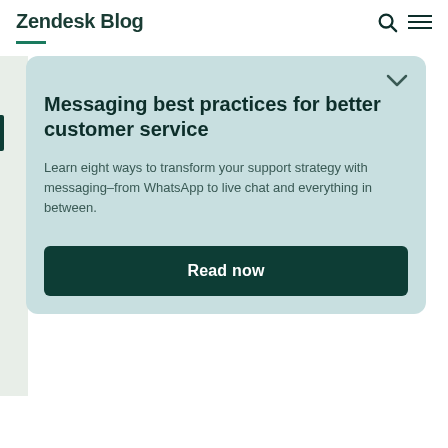Zendesk Blog
Messaging best practices for better customer service
Learn eight ways to transform your support strategy with messaging–from WhatsApp to live chat and everything in between.
Read now